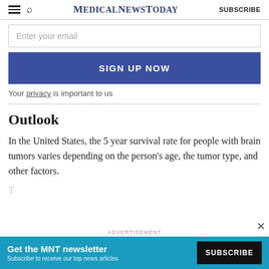MedicalNewsToday | SUBSCRIBE
Enter your email
SIGN UP NOW
Your privacy is important to us
Outlook
In the United States, the 5 year survival rate for people with brain tumors varies depending on the person's age, the tumor type, and other factors.
[Figure (screenshot): Advertisement banner for MNT newsletter: 'Get the MNT newsletter. Subscribe to receive our top news articles.' with a SUBSCRIBE button on teal background.]